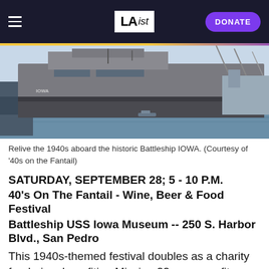LAist | DONATE
[Figure (photo): A large battleship (USS Iowa) docked at a harbor, viewed from the side at close range. The gray hull of the ship dominates the image with dock structures and cranes visible in the background under a light blue sky.]
Relive the 1940s aboard the historic Battleship IOWA. (Courtesy of '40s on the Fantail)
SATURDAY, SEPTEMBER 28; 5 - 10 P.M.
40's On The Fantail - Wine, Beer & Food Festival
Battleship USS Iowa Museum -- 250 S. Harbor Blvd., San Pedro
This 1940s-themed festival doubles as a charity fundraiser benefiting Mission 22, a nonprofit